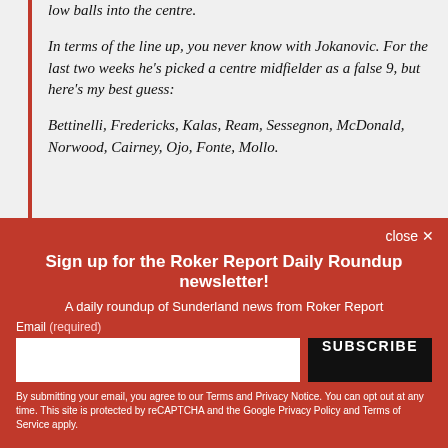low balls into the centre.
In terms of the line up, you never know with Jokanovic. For the last two weeks he's picked a centre midfielder as a false 9, but here's my best guess:
Bettinelli, Fredericks, Kalas, Ream, Sessegnon, McDonald, Norwood, Cairney, Ojo, Fonte, Mollo.
Sign up for the Roker Report Daily Roundup newsletter!
A daily roundup of Sunderland news from Roker Report
Email (required)
SUBSCRIBE
By submitting your email, you agree to our Terms and Privacy Notice. You can opt out at any time. This site is protected by reCAPTCHA and the Google Privacy Policy and Terms of Service apply.